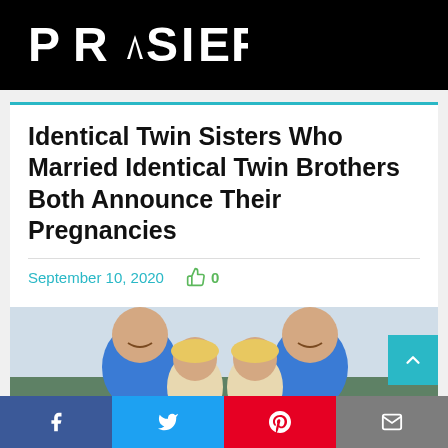PRASIER
Identical Twin Sisters Who Married Identical Twin Brothers Both Announce Their Pregnancies
September 10, 2020   0
[Figure (photo): Two men in blue shirts smiling with two blonde women between them, outdoors near trees and water]
Facebook   Twitter   Pinterest   Email